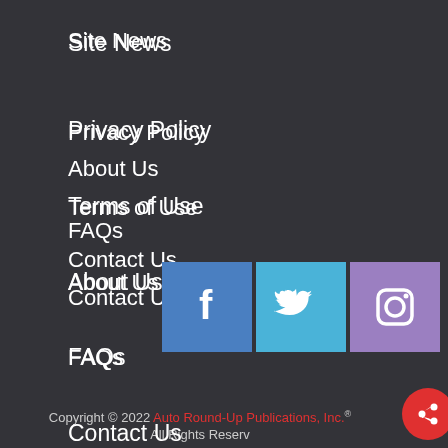Site News
Privacy Policy
Terms of Use
About Us
FAQs
Contact Us
[Figure (other): Social media icons: Facebook, Twitter, Instagram]
Copyright © 2022 Auto Round-Up Publications, Inc.® All Rights Reserved